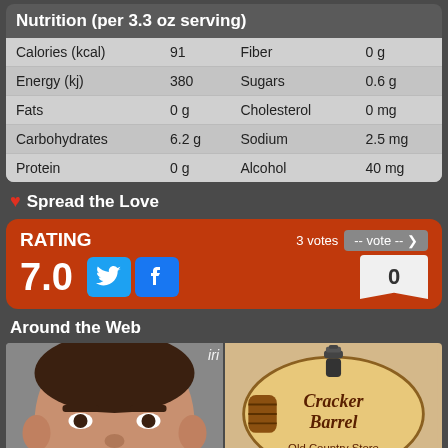|  |  |  |  |
| --- | --- | --- | --- |
| Calories (kcal) | 91 | Fiber | 0 g |
| Energy (kj) | 380 | Sugars | 0.6 g |
| Fats | 0 g | Cholesterol | 0 mg |
| Carbohydrates | 6.2 g | Sodium | 2.5 mg |
| Protein | 0 g | Alcohol | 40 mg |
Spread the Love
RATING 7.0 — 3 votes — 0
Around the Web
[Figure (photo): Photo of a man's face (partial)]
[Figure (logo): Cracker Barrel Old Country Store logo]